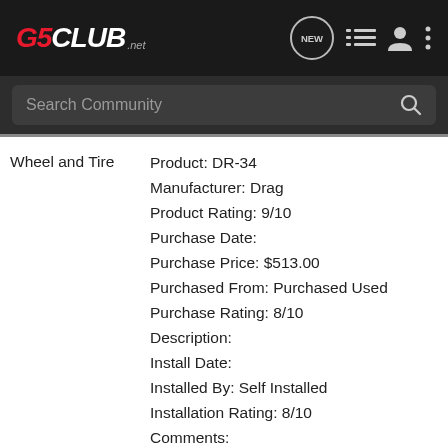G5CLUB.net navigation bar with search
Wheel and Tire
Product: DR-34
Manufacturer: Drag
Product Rating: 9/10
Purchase Date:
Purchase Price: $513.00
Purchased From: Purchased Used
Purchase Rating: 8/10
Description:
Install Date:
Installed By: Self Installed
Installation Rating: 8/10
Comments:
Product: AVID H4's
Manufacturer: Yokohama